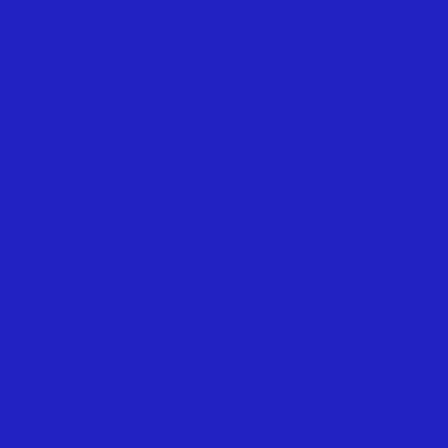[Figure (other): Solid deep royal blue background filling the entire page, approximately #2020C0 to #2525CC in color.]